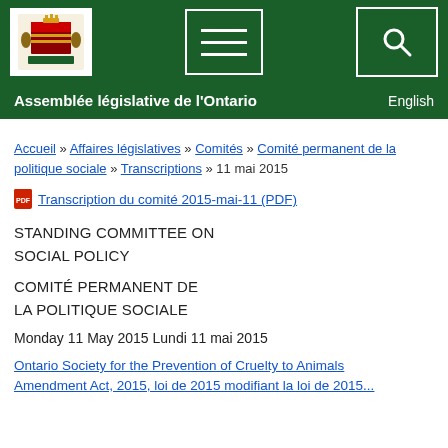[Figure (logo): Ontario Legislative Assembly coat of arms logo in white box]
Assemblée législative de l'Ontario  English
Accueil » Affaires législatives » Comités » Comité permanent de la politique sociale » Transcriptions » 11 mai 2015
Transcription du comité 2015-mai-11 (PDF)
STANDING COMMITTEE ON SOCIAL POLICY
COMITÉ PERMANENT DE LA POLITIQUE SOCIALE
Monday 11 May 2015  Lundi 11 mai 2015
Ontario Society for the Prevention of Cruelty to Animals Amendment Act, 2015, loi de 2015 modifiant la loi de 2015...